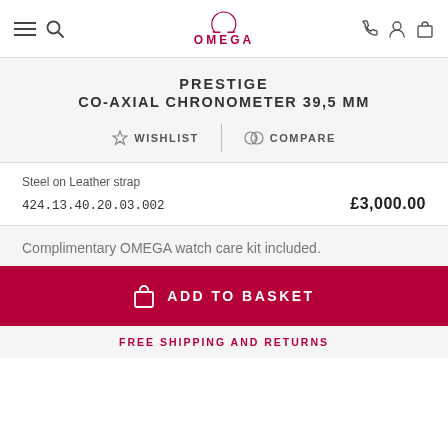OMEGA
PRESTIGE
CO-AXIAL CHRONOMETER 39,5 MM
WISHLIST  |  COMPARE
Steel on Leather strap
424.13.40.20.03.002   £3,000.00
Complimentary OMEGA watch care kit included.
ADD TO BASKET
FREE SHIPPING AND RETURNS